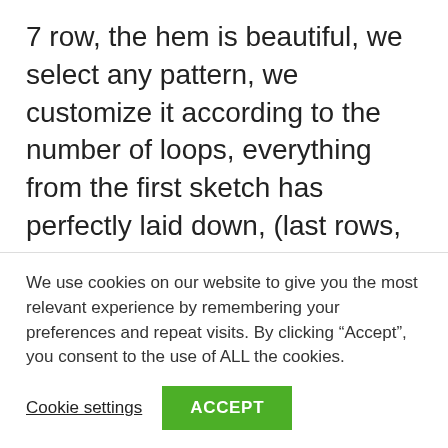7 row, the hem is beautiful, we select any pattern, we customize it according to the number of loops, everything from the first sketch has perfectly laid down, (last rows, on the diagrams!)
We cut, hide the thread, make the straps, try on the skirt, seam back, and we hook the thread in the place you want, and we knit 3 hdc, turn the knit, 1ch to raise, and 3hdc And ...
We use cookies on our website to give you the most relevant experience by remembering your preferences and repeat visits. By clicking “Accept”, you consent to the use of ALL the cookies.
Cookie settings
ACCEPT